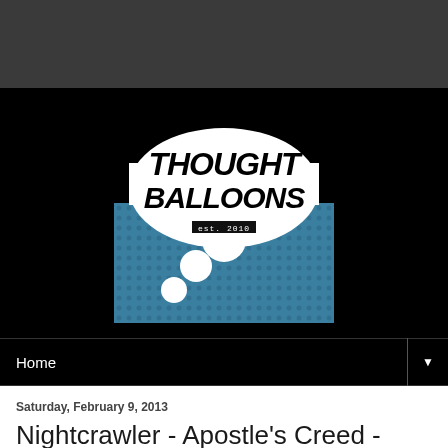[Figure (logo): Thought Balloons logo — comic-style speech bubble with bold italic text 'THOUGHT BALLOONS' and 'est. 2010' label, blue halftone dot background with white circles]
Home
Saturday, February 9, 2013
Nightcrawler - Apostle's Creed - R.A. Wonsowski